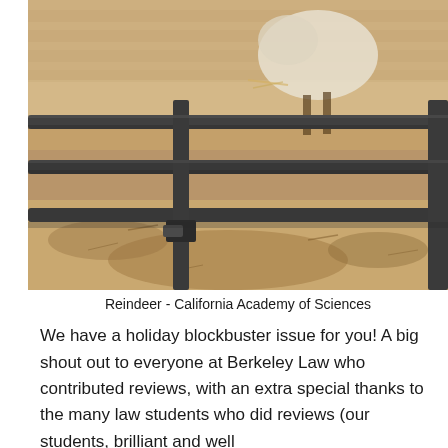[Figure (photo): Sepia-toned photograph of reindeer behind metal fence rails in a dirt enclosure at the California Academy of Sciences. The image shows metal bars across the foreground, sandy/dirt ground, and a white and brown reindeer visible behind the bars.]
Reindeer - California Academy of Sciences
We have a holiday blockbuster issue for you! A big shout out to everyone at Berkeley Law who contributed reviews, with an extra special thanks to the many law students who did reviews (our students, brilliant and well...